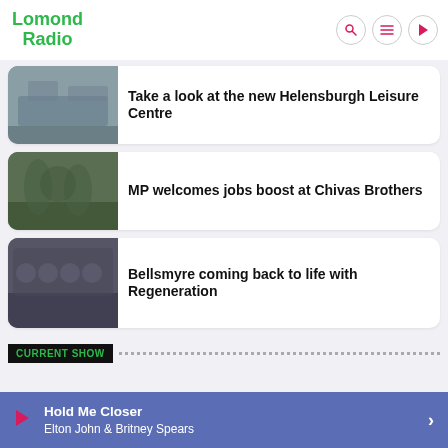Lomond Radio
Take a look at the new Helensburgh Leisure Centre
MP welcomes jobs boost at Chivas Brothers
Bellsmyre coming back to life with Regeneration
CURRENT SHOW
Hold Me Closer
Elton John & Britney Spears